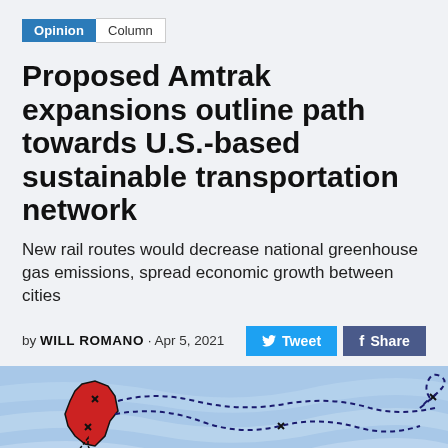Opinion | Column
Proposed Amtrak expansions outline path towards U.S.-based sustainable transportation network
New rail routes would decrease national greenhouse gas emissions, spread economic growth between cities
by WILL ROMANO · Apr 5, 2021
[Figure (illustration): Illustrated map showing U.S. states (Wisconsin highlighted in red) with dotted rail route lines on a light blue background suggesting rail network expansion]